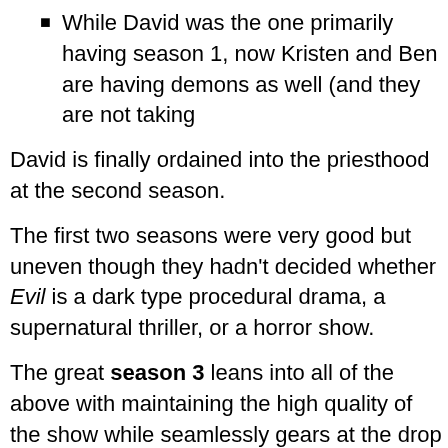While David was the one primarily having demons in season 1, now Kristen and Ben are having demons as well (and they are not taking
David is finally ordained into the priesthood at the second season.
The first two seasons were very good but uneven though they hadn't decided whether Evil is a dark type procedural drama, a supernatural thriller, or a horror show.
The great season 3 leans into all of the above with maintaining the high quality of the show while seamlessly gears at the drop of a hat. You never know when jump from family comedy to horror to procedural drama to plain weirdness. The series has become less reliant on mystery of the week in favor of more character de